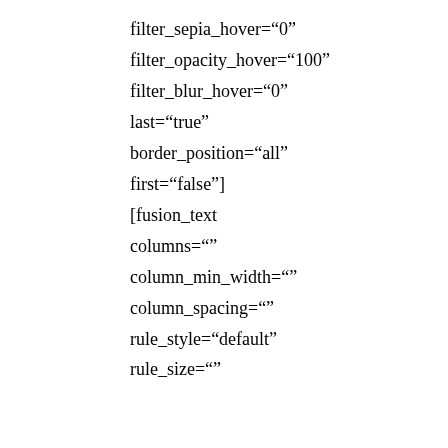filter_sepia_hover="0"
filter_opacity_hover="100"
filter_blur_hover="0"
last="true"
border_position="all"
first="false"]
[fusion_text
columns=""
column_min_width=""
column_spacing=""
rule_style="default"
rule_size=""